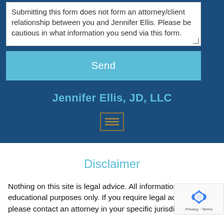Submitting this form does not form an attorney/client relationship between you and Jennifer Ellis. Please be cautious in what information you send via this form.
Send
Jennifer Ellis, JD, LLC
[Figure (other): Hamburger menu icon with three horizontal lines inside a border]
Disclaimer
Nothing on this site is legal advice. All information is for educational purposes only. If you require legal advice, please contact an attorney in your specific jurisdiction. Do
[Figure (other): reCAPTCHA verification widget showing recycling arrows logo with Privacy and Terms text]